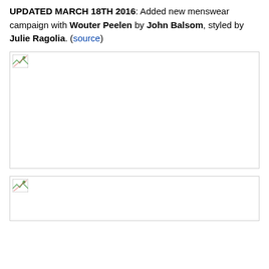UPDATED MARCH 18TH 2016: Added new menswear campaign with Wouter Peelen by John Balsom, styled by Julie Ragolia. (source)
[Figure (photo): Broken/missing image placeholder (first image)]
[Figure (photo): Broken/missing image placeholder (second image)]